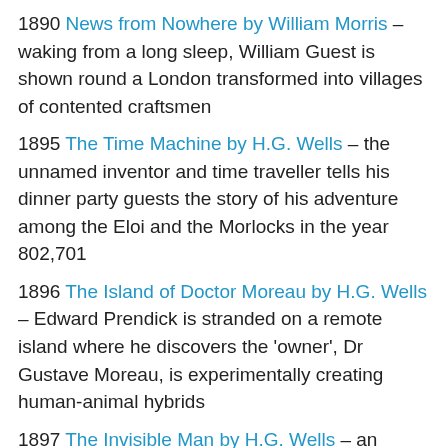1890 News from Nowhere by William Morris – waking from a long sleep, William Guest is shown round a London transformed into villages of contented craftsmen
1895 The Time Machine by H.G. Wells – the unnamed inventor and time traveller tells his dinner party guests the story of his adventure among the Eloi and the Morlocks in the year 802,701
1896 The Island of Doctor Moreau by H.G. Wells – Edward Prendick is stranded on a remote island where he discovers the 'owner', Dr Gustave Moreau, is experimentally creating human-animal hybrids
1897 The Invisible Man by H.G. Wells – an embittered young scientist, Griffin, makes himself invisible, starting with comic capers in a Sussex village, and ending with demented murders
1899 When The Sleeper Wakes/The Sleeper Wakes by